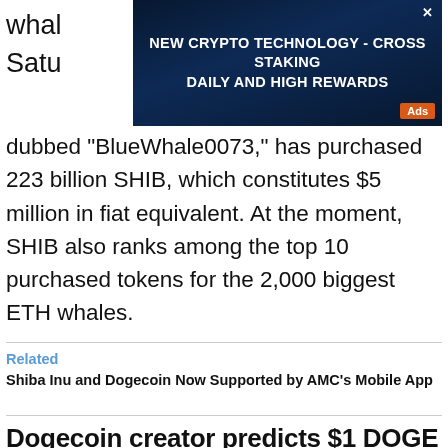whal Satu
[Figure (screenshot): Advertisement banner: 'NEW CRYPTO TECHNOLOGY - CROSS STAKING DAILY AND HIGH REWARDS' with Ads badge and close button, dark blue background]
dubbed "BlueWhale0073," has purchased 223 billion SHIB, which constitutes $5 million in fiat equivalent. At the moment, SHIB also ranks among the top 10 purchased tokens for the 2,000 biggest ETH whales.
Related
Shiba Inu and Dogecoin Now Supported by AMC's Mobile App
Dogecoin creator predicts $1 DOGE but makes important clarification
Billy Markus, creator of the Dogecoin meme